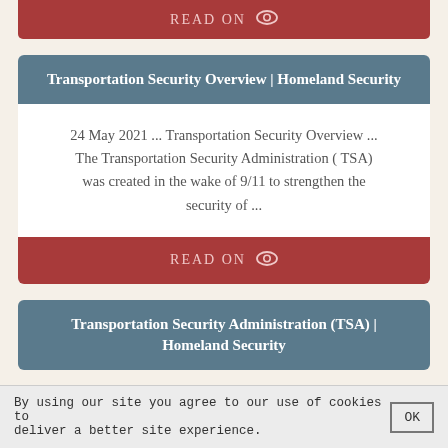READ ON
Transportation Security Overview | Homeland Security
24 May 2021 ... Transportation Security Overview ... The Transportation Security Administration ( TSA) was created in the wake of 9/11 to strengthen the security of ...
READ ON
Transportation Security Administration (TSA) | Homeland Security
By using our site you agree to our use of cookies to deliver a better site experience.